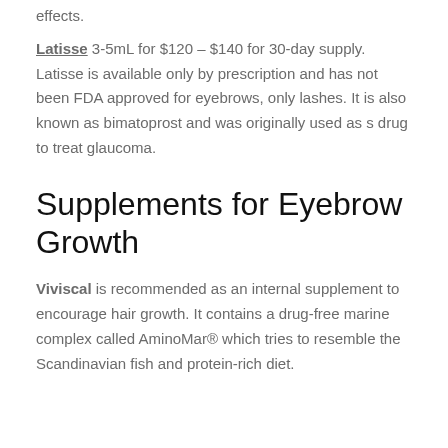effects.
Latisse 3-5mL for $120 – $140 for 30-day supply. Latisse is available only by prescription and has not been FDA approved for eyebrows, only lashes. It is also known as bimatoprost and was originally used as s drug to treat glaucoma.
Supplements for Eyebrow Growth
Viviscal is recommended as an internal supplement to encourage hair growth. It contains a drug-free marine complex called AminoMar® which tries to resemble the Scandinavian fish and protein-rich diet.